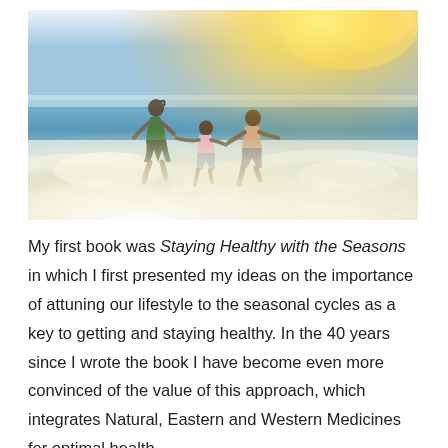[Figure (photo): A woman and three children running through ocean surf on a beach, viewed from behind. Bright sunlight and golden haze in the upper right. The figures are splashing in shallow water.]
My first book was Staying Healthy with the Seasons in which I first presented my ideas on the importance of attuning our lifestyle to the seasonal cycles as a key to getting and staying healthy. In the 40 years since I wrote the book I have become even more convinced of the value of this approach, which integrates Natural, Eastern and Western Medicines for optimal health.